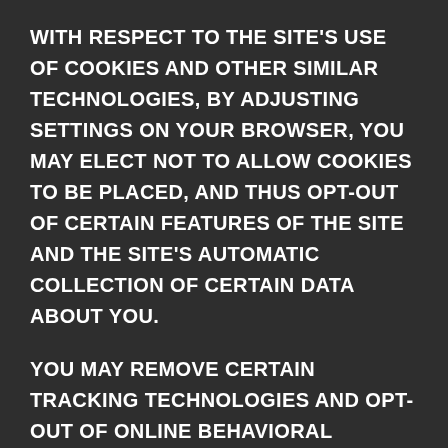WITH RESPECT TO THE SITE'S USE OF COOKIES AND OTHER SIMILAR TECHNOLOGIES, BY ADJUSTING SETTINGS ON YOUR BROWSER, YOU MAY ELECT NOT TO ALLOW COOKIES TO BE PLACED, AND THUS OPT-OUT OF CERTAIN FEATURES OF THE SITE AND THE SITE'S AUTOMATIC COLLECTION OF CERTAIN DATA ABOUT YOU.
YOU MAY REMOVE CERTAIN TRACKING TECHNOLOGIES AND OPT-OUT OF ONLINE BEHAVIORAL ADVERTISING MESSAGING BY USING THE OPT-OUT TOOLS AVAILABLE FROM THE DIGITAL ADVERTISING ALLIANCE (DAA OPT-OUT TOOL) AND THE NETWORK ADVERTISING INITIATIVE (NAI